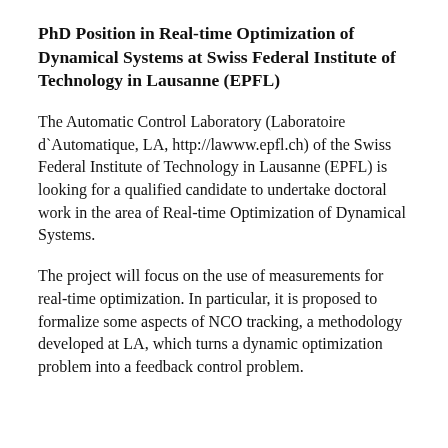PhD Position in Real-time Optimization of Dynamical Systems at Swiss Federal Institute of Technology in Lausanne (EPFL)
The Automatic Control Laboratory (Laboratoire d`Automatique, LA, http://lawww.epfl.ch) of the Swiss Federal Institute of Technology in Lausanne (EPFL) is looking for a qualified candidate to undertake doctoral work in the area of Real-time Optimization of Dynamical Systems.
The project will focus on the use of measurements for real-time optimization. In particular, it is proposed to formalize some aspects of NCO tracking, a methodology developed at LA, which turns a dynamic optimization problem into a feedback control problem.